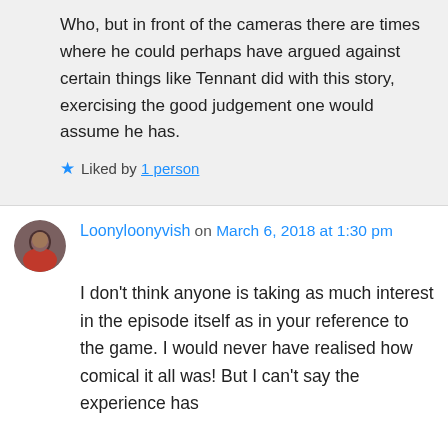Who, but in front of the cameras there are times where he could perhaps have argued against certain things like Tennant did with this story, exercising the good judgement one would assume he has.
★ Liked by 1 person
Loonyloonyvish on March 6, 2018 at 1:30 pm
I don't think anyone is taking as much interest in the episode itself as in your reference to the game. I would never have realised how comical it all was! But I can't say the experience has